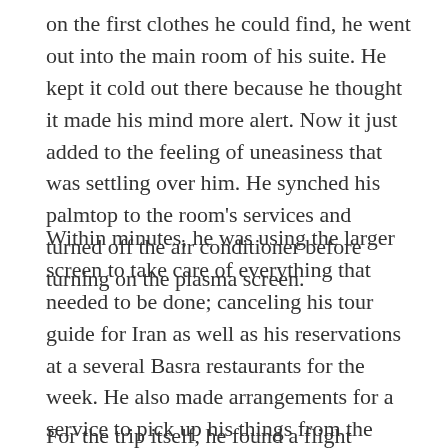on the first clothes he could find, he went out into the main room of his suite. He kept it cold out there because he thought it made his mind more alert. Now it just added to the feeling of uneasiness that was settling over him. He synched his palmtop to the room's services and turned off the air conditioner before turning on the plasma screen.
Within minutes, he was using the larger screen to take care of everything that needed to be done; canceling his tour guide for Iran as well as his reservations at a several Basra restaurants for the week. He also made arrangements for a service to pick up his things from the hotel and ship them back to the states; he planned to be on his way home as soon as possible and wasn't willing to waste time packing.
For the trip itself, he found a flight leaving in two